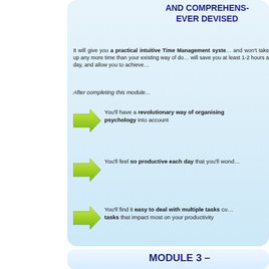AND COMPREHENSIVE EVER DEVISED
It will give you a practical intuitive Time Management system and won't take up any more time than your existing way of doing things. It will save you at least 1-2 hours a day, and allow you to achieve...
After completing this module...
You'll have a revolutionary way of organising psychology into account
You'll feel so productive each day that you'll wond...
You'll find it easy to deal with multiple tasks co... tasks that impact most on your productivity
MODULE 3 –